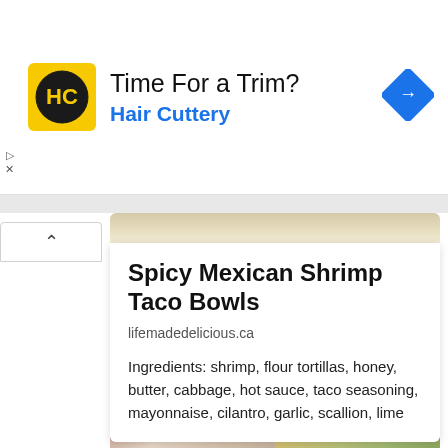[Figure (other): Advertisement banner for Hair Cuttery with yellow logo showing HC letters, headline 'Time For a Trim?' and brand name 'Hair Cuttery' in blue, with a blue diamond navigation icon on the right]
Spicy Mexican Shrimp Taco Bowls
lifemadedelicious.ca
Ingredients: shrimp, flour tortillas, honey, butter, cabbage, hot sauce, taco seasoning, mayonnaise, cilantro, garlic, scallion, lime
[Figure (photo): Photo of shrimp tacos at the bottom of the page, showing taco bowls with shrimp and colorful toppings]